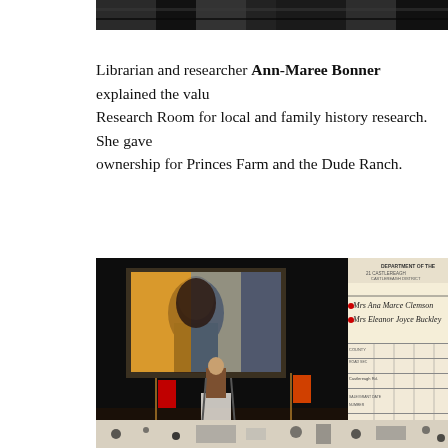[Figure (photo): Dark photo strip at top of page showing what appears to be a ceiling or dark interior space]
Librarian and researcher Ann-Maree Bonner explained the value of the Research Room for local and family history research. She gave examples of ownership for Princes Farm and the Dude Ranch.
[Figure (photo): Left: Photo of a presenter at a podium on a dark stage with a projected painting on screen. Right: Partial view of a historical document from Department of the Lands showing handwritten names including Mrs Ana Marce Clemson and Mrs Eleanor Joyce Buckley, with printed fields for Castlereagh Rd, date 19.4.39, lot 34, area 30 ac.]
[Figure (photo): Bottom strip showing partial black and white archival or newspaper image]